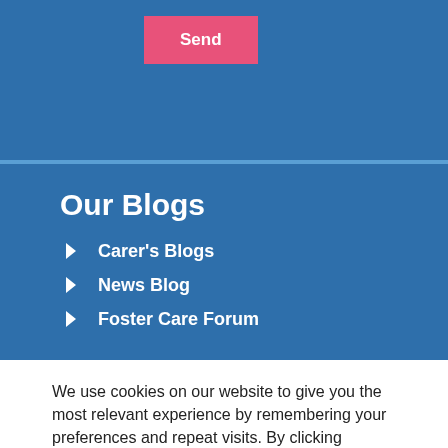Send
Our Blogs
Carer's Blogs
News Blog
Foster Care Forum
We use cookies on our website to give you the most relevant experience by remembering your preferences and repeat visits. By clicking "Accept All", you consent to the use of ALL the cookies. However, you may visit "Cookie Settings" to provide a controlled consent.
Cookie Settings
Accept All